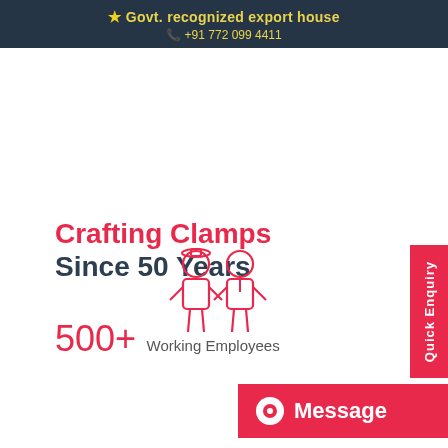★ Govt. recognized export house | +91 772 099 4411
Crafting Clamps Since 50 Years
500+ Working Employees
[Figure (illustration): Two worker/employee figures illustrated in red outline style]
Quick Enquiry
Message